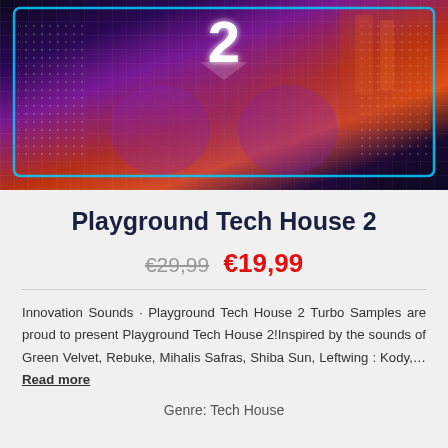[Figure (illustration): Promotional banner image for Playground Tech House 2 showing futuristic robots/figures with purple and orange lighting, neon grid patterns, and a large number 2 at the top center with a cyan/blue hexagonal border overlay]
Playground Tech House 2
€29,99  €19,99
Innovation Sounds · Playground Tech House 2 Turbo Samples are proud to present Playground Tech House 2!Inspired by the sounds of Green Velvet, Rebuke, Mihalis Safras, Shiba Sun, Leftwing : Kody,... Read more
Genre: Tech House